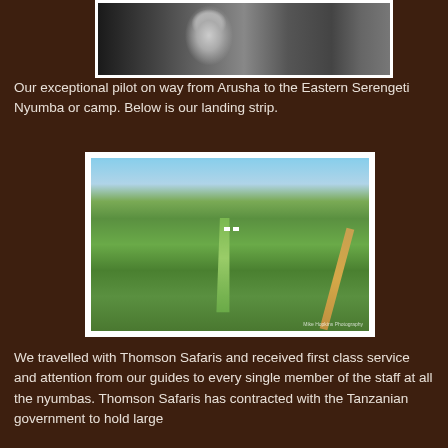[Figure (photo): Black and white photograph of a pilot operating aircraft controls/instruments in the cockpit]
Our exceptional pilot on way from Arusha to the Eastern Serengeti Nyumba or camp. Below is our landing strip.
[Figure (photo): Aerial color photograph of the Serengeti landing strip - a flat green grass runway with dirt road and small white buildings visible, sky in background]
We travelled with Thomson Safaris and received first class service and attention from our guides to every single member of the staff at all the nyumbas. Thomson Safaris has contracted with the Tanzanian government to hold large